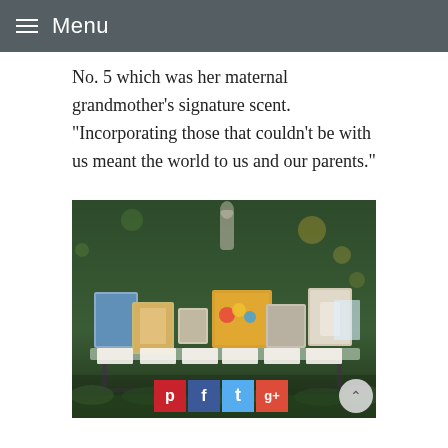Menu
No. 5 which was her maternal grandmother’s signature scent. “Incorporating those that couldn’t be with us meant the world to us and our parents.”
[Figure (photo): Outdoor memorial table display with framed photographs of deceased loved ones and handwritten name cards, set on a wrought-iron table surrounded by greenery.]
Social sharing buttons: Pinterest, Facebook, Twitter, Google+